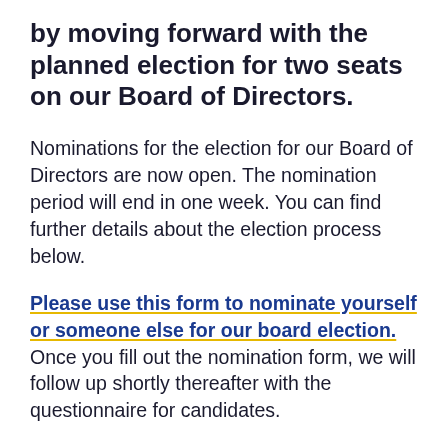by moving forward with the planned election for two seats on our Board of Directors.
Nominations for the election for our Board of Directors are now open. The nomination period will end in one week. You can find further details about the election process below.
Please use this form to nominate yourself or someone else for our board election. Once you fill out the nomination form, we will follow up shortly thereafter with the questionnaire for candidates.